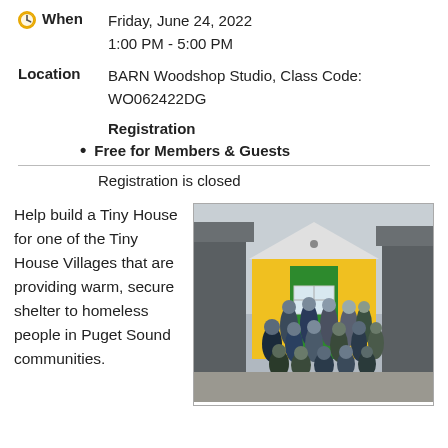When  Friday, June 24, 2022  1:00 PM - 5:00 PM
Location  BARN Woodshop Studio, Class Code: WO062422DG
Registration
Free for Members & Guests
Registration is closed
Help build a Tiny House for one of the Tiny House Villages that are providing warm, secure shelter to homeless people in Puget Sound communities.
[Figure (photo): Group photo of approximately 12 people wearing masks, standing in front of a bright yellow and green tiny house. The people are arranged in rows, with some standing and some crouching in front. Two additional tiny houses are visible on either side.]